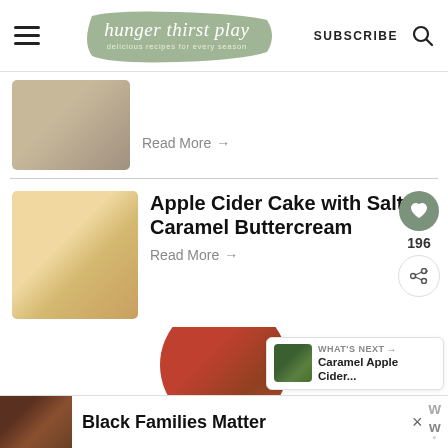hunger thirst play – delicious recipes for every season | SUBSCRIBE
[Figure (photo): Partial food photo showing a stuffed dish with garnish on a plate]
Read More →
[Figure (photo): Apple Cider Cake cupcakes with piped frosting and cinnamon sticks on a light background]
Apple Cider Cake with Salted Caramel Buttercream
Read More →
[Figure (photo): Circular cropped photo of apples on a plate with linen cloth — partial view]
WHAT'S NEXT → Caramel Apple Cider...
[Figure (photo): Ad banner showing people smiling — Black Families Matter advertisement]